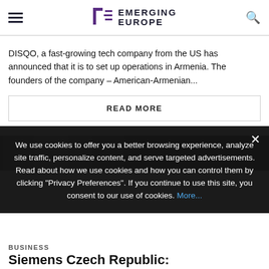EMERGING EUROPE
DISQO, a fast-growing tech company from the US has announced that it is to set up operations in Armenia. The founders of the company – American-Armenian...
READ MORE
[Figure (photo): Dark image showing computer monitors/screens in an office or newsroom setting]
We use cookies to offer you a better browsing experience, analyze site traffic, personalize content, and serve targeted advertisements. Read about how we use cookies and how you can control them by clicking "Privacy Preferences". If you continue to use this site, you consent to our use of cookies. More...
BUSINESS
Siemens Czech Republic: